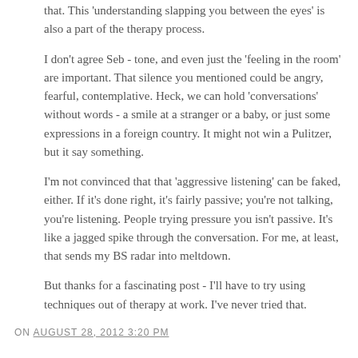that. This 'understanding slapping you between the eyes' is also a part of the therapy process.
I don't agree Seb - tone, and even just the 'feeling in the room' are important. That silence you mentioned could be angry, fearful, contemplative. Heck, we can hold 'conversations' without words - a smile at a stranger or a baby, or just some expressions in a foreign country. It might not win a Pulitzer, but it say something.
I'm not convinced that that 'aggressive listening' can be faked, either. If it's done right, it's fairly passive; you're not talking, you're listening. People trying pressure you isn't passive. It's like a jagged spike through the conversation. For me, at least, that sends my BS radar into meltdown.
But thanks for a fascinating post - I'll have to try using techniques out of therapy at work. I've never tried that.
ON AUGUST 28, 2012 3:20 PM
DOUG WROTE:
I read this, years ago as a new software manager. Easily the best book on talking to people ever.
Crucial Conversations